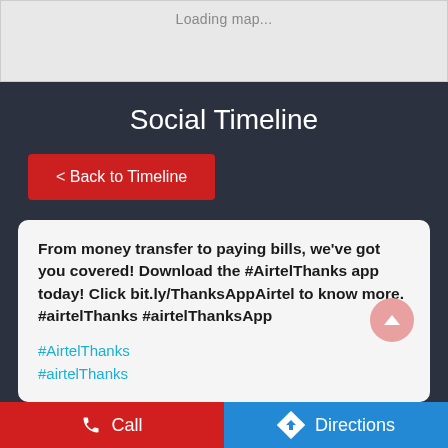[Figure (screenshot): Map loading area with light gray background showing 'Loading map...' text]
Social Timeline
< Back to Timeline
From money transfer to paying bills, we've got you covered! Download the #AirtelThanks app today! Click bit.ly/ThanksAppAirtel to know more. #airtelThanks #airtelThanksApp
#AirtelThanks
#airtelThanks
Call    Directions